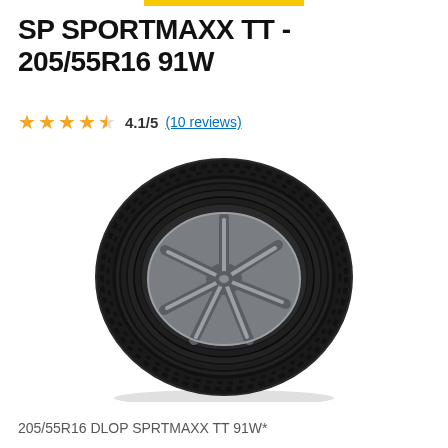SP SPORTMAXX TT - 205/55R16 91W
4.1/5 (10 reviews)
[Figure (photo): Product photo of a Dunlop SP SportMaxx TT tire (205/55R16 91W) shown at an angle, displaying the tread pattern and alloy wheel rim on a white background.]
205/55R16 DLOP SPRTMAXX TT 91W*